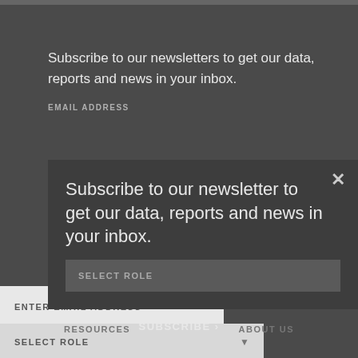Subscribe to our newsletters to get our data, reports and news in your inbox.
EMAIL ADDRESS
[Figure (screenshot): A modal overlay popup on a dark background showing newsletter subscription form with close button, text, select role dropdown, email address input, select role dropdown, and subscribe button.]
Subscribe to our newsletter to get our data, reports and news in your inbox.
SELECT ROLE
ENTER EMAIL ADDRESS
SELECT ROLE
SUBSCRIBE ›
RESOURCES    ABOUT US